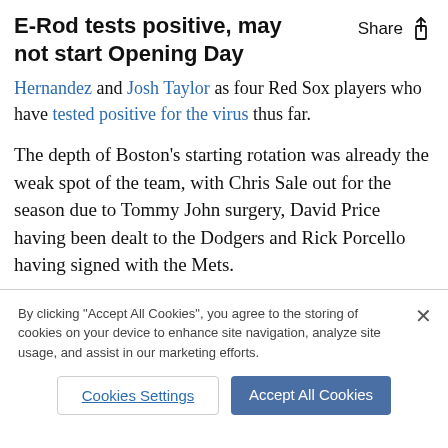E-Rod tests positive, may not start Opening Day
Hernandez and Josh Taylor as four Red Sox players who have tested positive for the virus thus far.
The depth of Boston's starting rotation was already the weak spot of the team, with Chris Sale out for the season due to Tommy John surgery, David Price having been dealt to the Dodgers and Rick Porcello having signed with the Mets.
By clicking "Accept All Cookies", you agree to the storing of cookies on your device to enhance site navigation, analyze site usage, and assist in our marketing efforts.
Cookies Settings
Accept All Cookies